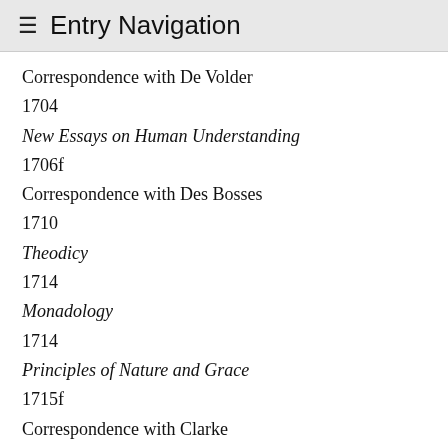≡ Entry Navigation
Correspondence with De Volder
1704
New Essays on Human Understanding
1706f
Correspondence with Des Bosses
1710
Theodicy
1714
Monadology
1714
Principles of Nature and Grace
1715f
Correspondence with Clarke
2. Overview of Leibniz's Philosophy